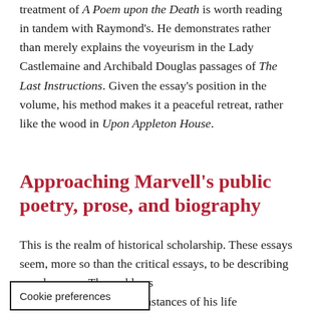treatment of A Poem upon the Death is worth reading in tandem with Raymond's. He demonstrates rather than merely explains the voyeurism in the Lady Castlemaine and Archibald Douglas passages of The Last Instructions. Given the essay's position in the volume, his method makes it a peaceful retreat, rather like the wood in Upon Appleton House.
Approaching Marvell's public poetry, prose, and biography
This is the realm of historical scholarship. These essays seem, more so than the critical essays, to be describing a real person. They address the circumstances of his life ave the structural advantage of
Cookie preferences